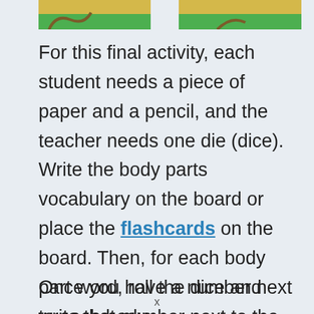[Figure (illustration): Top portion of an educational illustration showing green and yellow/gold colored cards or flashcard images, partially cropped at the top of the page.]
For this final activity, each student needs a piece of paper and a pencil, and the teacher needs one die (dice). Write the body parts vocabulary on the board or place the flashcards on the board. Then, for each body part word, roll the dice and write that number next to the word (or invite some students up to the front to roll the dice).
Once you have a number next to each body